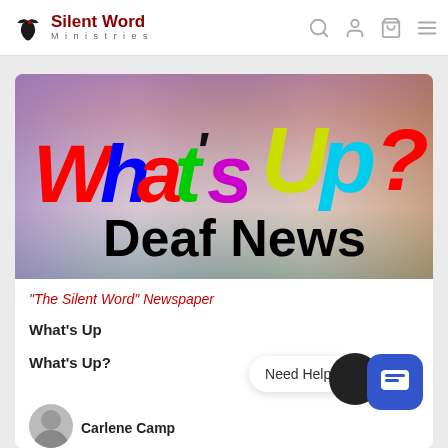Silent Word Ministries
[Figure (illustration): What's Up? Deaf News colorful banner with multicolored letters on gradient background]
"The Silent Word" Newspaper
What's Up
What's Up?
Carlene Camp